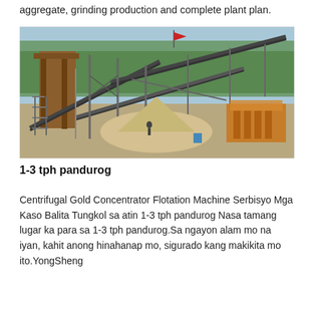aggregate, grinding production and complete plant plan.
[Figure (photo): Industrial aggregate crushing and screening plant with conveyor belts, steel structures, and processing equipment outdoors with trees in the background.]
1-3 tph pandurog
Centrifugal Gold Concentrator Flotation Machine Serbisyo Mga Kaso Balita Tungkol sa atin 1-3 tph pandurog Nasa tamang lugar ka para sa 1-3 tph pandurog.Sa ngayon alam mo na iyan, kahit anong hinahanap mo, sigurado kang makikita mo ito.YongSheng